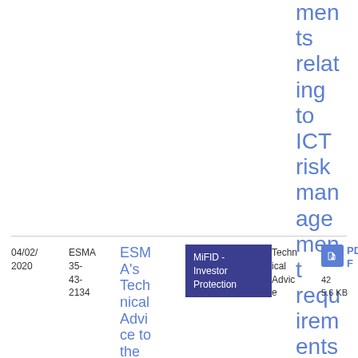ments relating to ICT risk management requirements
| Date | ID | Title | Topic | Type | File |
| --- | --- | --- | --- | --- | --- |
| 04/02/2020 | ESMA 35-43-2134 | ESMA's Technical Advice to the... | MiFID - Investor Protection | Technical Advice | PDF 42 5.6 KB |